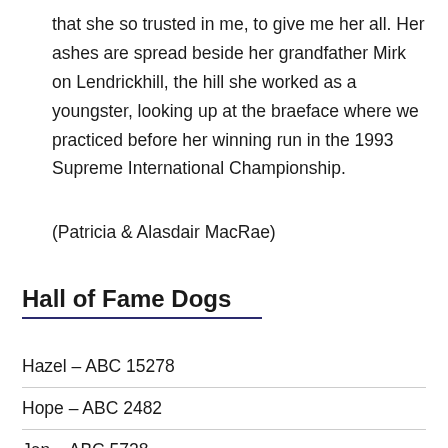that she so trusted in me, to give me her all. Her ashes are spread beside her grandfather Mirk on Lendrickhill, the hill she worked as a youngster, looking up at the braeface where we practiced before her winning run in the 1993 Supreme International Championship.
(Patricia & Alasdair MacRae)
Hall of Fame Dogs
Hazel – ABC 15278
Hope – ABC 2482
Jen – ABC 5728